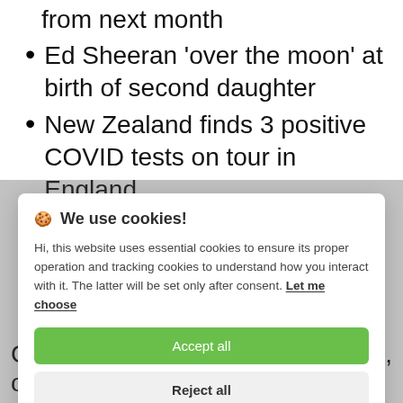from next month
Ed Sheeran 'over the moon' at birth of second daughter
New Zealand finds 3 positive COVID tests on tour in England
🍪 We use cookies!

Hi, this website uses essential cookies to ensure its proper operation and tracking cookies to understand how you interact with it. The latter will be set only after consent. Let me choose

[Accept all] [Reject all]
Colombo, the commercial capital, on